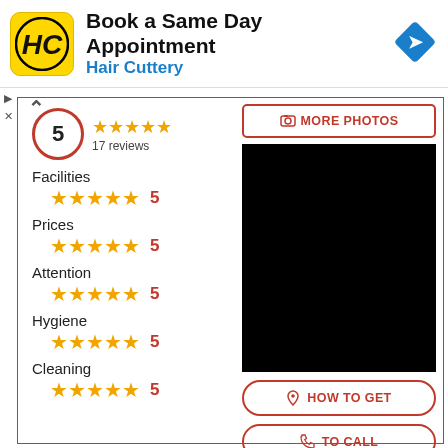[Figure (logo): Hair Cuttery HC logo in yellow square with advertisement text: Book a Same Day Appointment, Hair Cuttery, with blue diamond arrow icon]
▷
✕
[Figure (infographic): Business rating panel showing overall score 5 with 4.5 stars and 17 reviews, category ratings for Facilities, Prices, Attention, Hygiene, Cleaning each showing 5 stars and score of 5, alongside a black photo area with MORE PHOTOS button, HOW TO GET button, and TO CALL button]